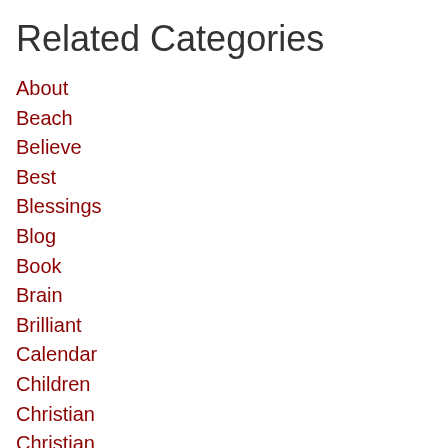Related Categories
About
Beach
Believe
Best
Blessings
Blog
Book
Brain
Brilliant
Calendar
Children
Christian
Christian
Christmas
Collection